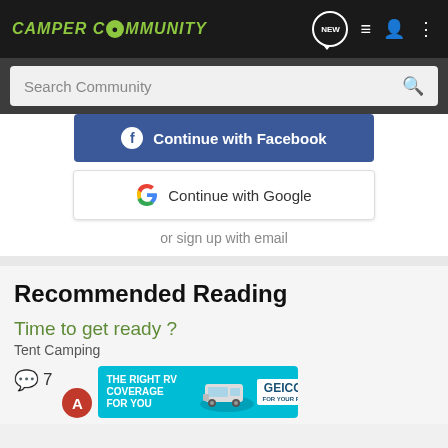CAMPER COMMUNITY
Search Community
Continue with Facebook
Continue with Google
or sign up with email
Recommended Reading
Time to get ready ?
Tent Camping
7
[Figure (screenshot): GEICO RV insurance advertisement banner showing 'THE RIGHT RV COVERAGE FOR YOU' with an RV image and GEICO logo]